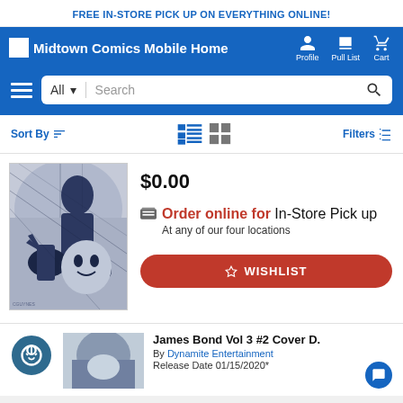FREE IN-STORE PICK UP ON EVERYTHING ONLINE!
[Figure (screenshot): Midtown Comics mobile website navigation bar with logo, Profile, Pull List, and Cart icons]
[Figure (screenshot): Search bar with All dropdown and search icon]
Sort By | Filters
[Figure (illustration): Comic book cover art showing action scene in black and white ink style]
$0.00
Order online for In-Store Pick up At any of our four locations
WISHLIST
James Bond Vol 3 #2 Cover D.
By Dynamite Entertainment
Release Date 01/15/2020*